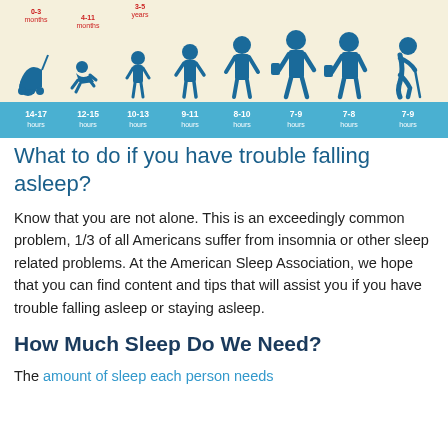[Figure (infographic): Infographic showing human silhouettes at different life stages (baby in pram, crawling infant, toddler, child, teen, young adult, adult, senior) with age labels (0-3 months, 4-11 months, 3-5 years) in red above figures, and a blue bar below each showing recommended sleep hours: 14-17 hours, 12-15 hours, 10-13 hours, 9-11 hours, 8-10 hours, 7-9 hours, 7-8 hours, 7-9 hours.]
What to do if you have trouble falling asleep?
Know that you are not alone. This is an exceedingly common problem, 1/3 of all Americans suffer from insomnia or other sleep related problems. At the American Sleep Association, we hope that you can find content and tips that will assist you if you have trouble falling asleep or staying asleep.
How Much Sleep Do We Need?
The amount of sleep each person needs